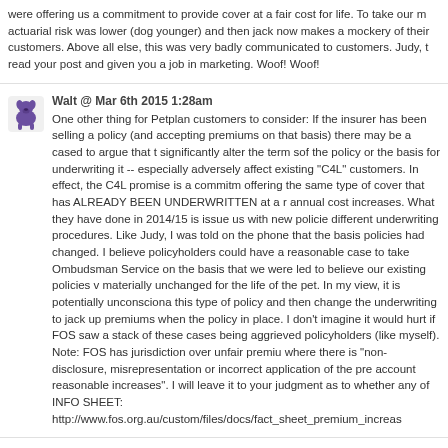were offering us a commitment to provide cover at a fair cost for life. To take our m actuarial risk was lower (dog younger) and then jack now makes a mockery of their customers. Above all else, this was very badly communicated to customers. Judy, t read your post and given you a job in marketing. Woof! Woof!
Walt @ Mar 6th 2015 1:28am
One other thing for Petplan customers to consider: If the insurer has been selling a policy (and accepting premiums on that basis) there may be a cased to argue that t significantly alter the term sof the policy or the basis for underwriting it -- especially adversely affect existing "C4L" customers. In effect, the C4L promise is a commitm offering the same type of cover that has ALREADY BEEN UNDERWRITTEN at a r annual cost increases. What they have done in 2014/15 is issue us with new policie different underwriting procedures. Like Judy, I was told on the phone that the basis policies had changed. I believe policyholders could have a reasonable case to take Ombudsman Service on the basis that we were led to believe our existing policies v materially unchanged for the life of the pet. In my view, it is potentially unconsciona this type of policy and then change the underwriting to jack up premiums when the policy in place. I don't imagine it would hurt if FOS saw a stack of these cases being aggrieved policyholders (like myself). Note: FOS has jurisdiction over unfair premiu where there is "non-disclosure, misrepresentation or incorrect application of the pre account reasonable increases". I will leave it to your judgment as to whether any of INFO SHEET: http://www.fos.org.au/custom/files/docs/fact_sheet_premium_increas
Judy @ Mar 6th 2015 11:10am
Hi Walt - thanks for your comments although I'm not sure i'd be keen on a marketin could just pay me to consult? ;-) I wish you had read my blog post 6 months ago as is very interesting. I hadn't considered it from the 'covered for life' aspect potentially result, potentially changing the terms of the original policy offering and potentially full this i